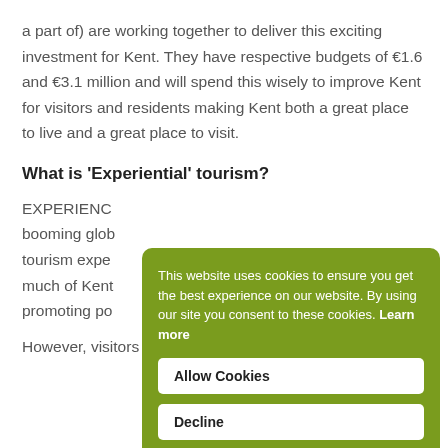a part of) are working together to deliver this exciting investment for Kent. They have respective budgets of €1.6 and €3.1 million and will spend this wisely to improve Kent for visitors and residents making Kent both a great place to live and a great place to visit.
What is 'Experiential' tourism?
EXPERIENC... booming glob... tourism expe... much of Kent... promoting po... However, visitors increasingly seek personalised and
[Figure (other): Cookie consent overlay on a green background with text: 'This website uses cookies to ensure you get the best experience on our website. By using our site you consent to these cookies. Learn more' and two buttons: 'Allow Cookies' and 'Decline'.]